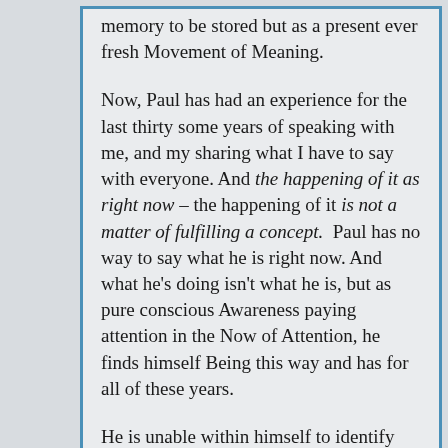memory to be stored but as a present ever fresh Movement of Meaning.

Now, Paul has had an experience for the last thirty some years of speaking with me, and my sharing what I have to say with everyone. And the happening of it as right now – the happening of it is not a matter of fulfilling a concept.  Paul has no way to say what he is right now. And what he's doing isn't what he is, but as pure conscious Awareness paying attention in the Now of Attention, he finds himself Being this way and has for all of these years.

He is unable within himself to identify himself as, let's say, a teacher.  Because he hasn't planned any of this, he hasn't studied for it.  What he's doing and what comes out of his mouth isn't calculated for a particular purpose that